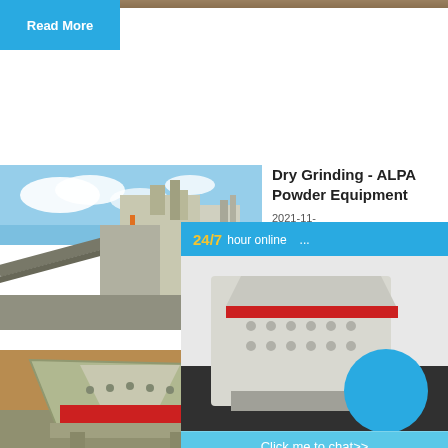Read More
[Figure (photo): Industrial grinding/crushing equipment facility with conveyor belts and large machine structures against blue sky]
Dry Grinding - ALPA Powder Equipment
2021-11-
Read
[Figure (photo): Industrial impact crusher machine in a factory setting, with red and grey coloring]
Different to Grind Powder
2015-8-8
[Figure (infographic): Popup overlay showing 24/7 hour online text, industrial crusher machine image with blue circle, Click me to chat>> button, Enquiry button, and limingjlmofen text]
24/7 hour online
Click me to chat>>
Enquiry
limingjlmofen